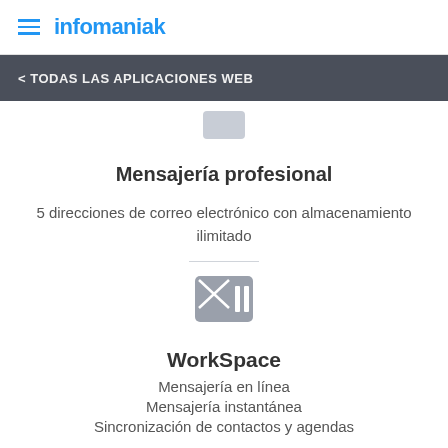infomaniak
< TODAS LAS APLICACIONES WEB
[Figure (illustration): Small grey rectangle icon representing an app/email icon at the top]
Mensajería profesional
5 direcciones de correo electrónico con almacenamiento ilimitado
[Figure (logo): WorkSpace icon: grey square with X envelope and two vertical bars]
WorkSpace
Mensajería en línea
Mensajería instantánea
Sincronización de contactos y agendas